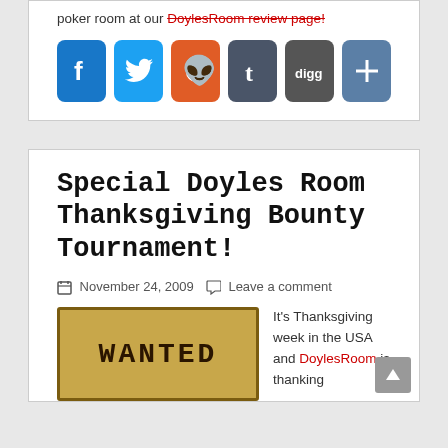poker room at our DoylesRoom review page!
[Figure (infographic): Social sharing icons: Facebook (blue), Twitter (light blue), Reddit (orange), Tumblr (dark gray), Digg (gray), Share/Plus (blue-gray)]
Special Doyles Room Thanksgiving Bounty Tournament!
November 24, 2009  Leave a comment
[Figure (illustration): A 'WANTED' poster with tan/gold background and brown border]
It's Thanksgiving week in the USA and DoylesRoom is thanking